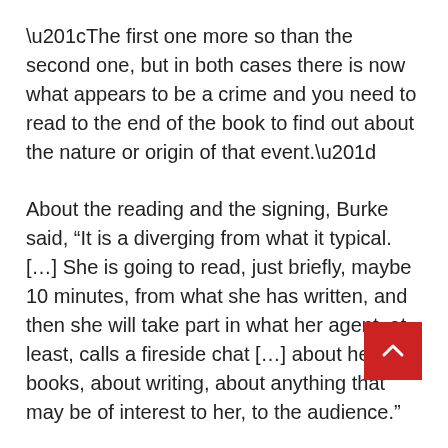“The first one more so than the second one, but in both cases there is now what appears to be a crime and you need to read to the end of the book to find out about the nature or origin of that event.”
About the reading and the signing, Burke said, “It is a diverging from what it typical. […] She is going to read, just briefly, maybe 10 minutes, from what she has written, and then she will take part in what her agent, at least, calls a fireside chat […] about her books, about writing, about anything that may be of interest to her, to the audience.”
“The advantage of this is that the audience get a lot more insight into what she thinks and how she works and what her interests are than they would